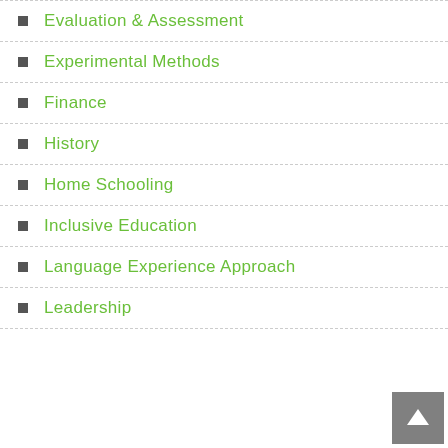Evaluation & Assessment
Experimental Methods
Finance
History
Home Schooling
Inclusive Education
Language Experience Approach
Leadership